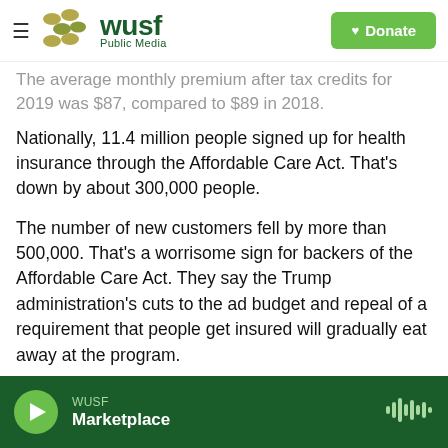WUSF Public Media | Donate
The average monthly premium after tax credits for 2019 was $87, compared to $89 in 2018.
Nationally, 11.4 million people signed up for health insurance through the Affordable Care Act. That's down by about 300,000 people.
The number of new customers fell by more than 500,000. That's a worrisome sign for backers of the Affordable Care Act. They say the Trump administration's cuts to the ad budget and repeal of a requirement that people get insured will gradually eat away at the program.
WUSF Marketplace